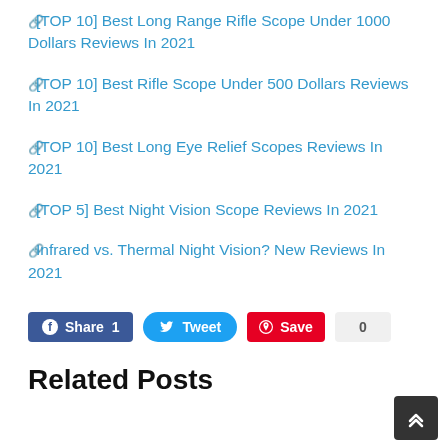🔗[TOP 10] Best Long Range Rifle Scope Under 1000 Dollars Reviews In 2021
🔗[TOP 10] Best Rifle Scope Under 500 Dollars Reviews In 2021
🔗[TOP 10] Best Long Eye Relief Scopes Reviews In 2021
🔗[TOP 5] Best Night Vision Scope Reviews In 2021
🔗Infrared vs. Thermal Night Vision? New Reviews In 2021
[Figure (infographic): Social sharing buttons: Facebook Share 1, Tweet, Pinterest Save, count 0]
Related Posts